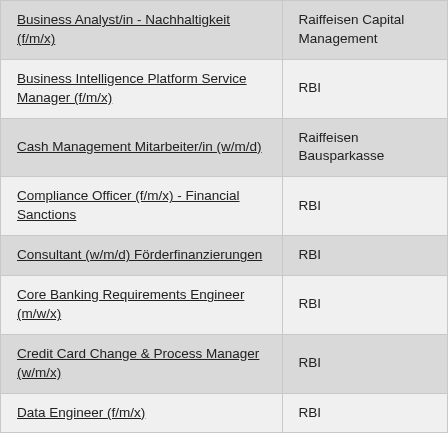| Position | Company |
| --- | --- |
| Business Analyst/in - Nachhaltigkeit (f/m/x) | Raiffeisen Capital Management |
| Business Intelligence Platform Service Manager (f/m/x) | RBI |
| Cash Management Mitarbeiter/in (w/m/d) | Raiffeisen Bausparkasse |
| Compliance Officer (f/m/x) - Financial Sanctions | RBI |
| Consultant (w/m/d) Förderfinanzierungen | RBI |
| Core Banking Requirements Engineer (m/w/x) | RBI |
| Credit Card Change & Process Manager (w/m/x) | RBI |
| Data Engineer (f/m/x) | RBI |